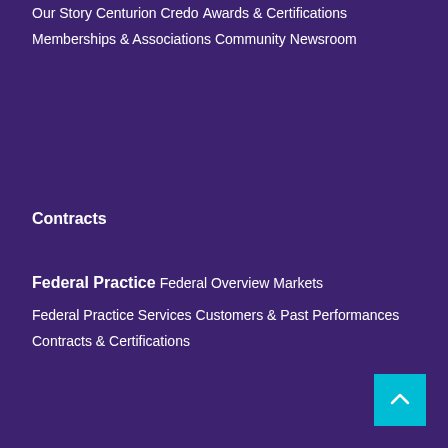Our Story
Centurion Credo
Awards & Certifications
Memberships & Associations
Community
Newsroom
Contracts
Federal Practice
Federal Overview
Markets
Federal Practice Services
Customers & Past Performances
Contracts & Certifications